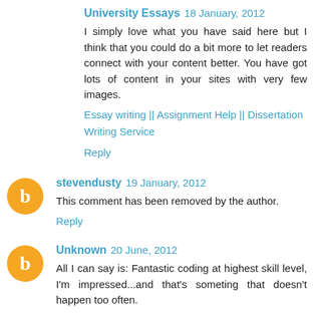University Essays  18 January, 2012
I simply love what you have said here but I think that you could do a bit more to let readers connect with your content better. You have got lots of content in your sites with very few images.
Essay writing || Assignment Help || Dissertation Writing Service
Reply
stevendusty  19 January, 2012
This comment has been removed by the author.
Reply
Unknown  20 June, 2012
All I can say is: Fantastic coding at highest skill level, I'm impressed...and that's someting that doesn't happen too often.
Rochester Furniture Stores